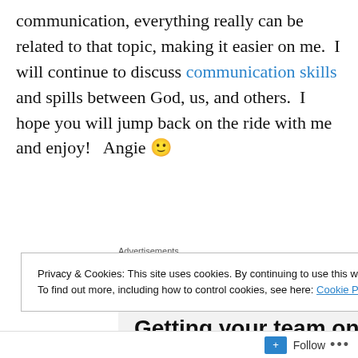communication, everything really can be related to that topic, making it easier on me.  I will continue to discuss communication skills and spills between God, us, and others.  I hope you will jump back on the ride with me and enjoy!   Angie 🙂
Advertisements
[Figure (other): P2 advertisement: logo with dark square icon and 'P2' text, headline 'Getting your team on the same page is easy.']
Privacy & Cookies: This site uses cookies. By continuing to use this website, you agree to their use.
To find out more, including how to control cookies, see here: Cookie Policy
Close and accept
Follow •••